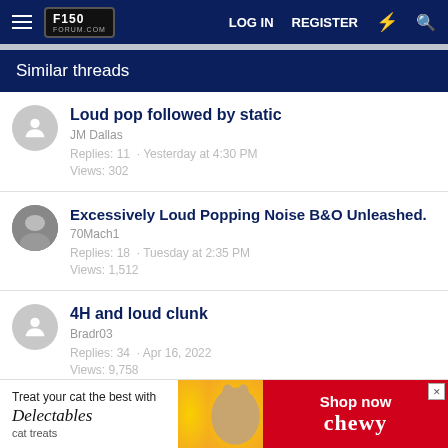F150Forum.com — LOG IN  REGISTER
Similar threads
Loud pop followed by static
JM Dallas
Replies: 11 · Yesterday at 4:30 PM
Views: 302
Excessively Loud Popping Noise B&O Unleashed.
70Mach1
Replies: 18 · Tuesday at 2:35 PM
Views: 1,512
4H and loud clunk
Bradr03
Replies: 34 · Apr 16, 2022
Views: 9,758
[Figure (screenshot): Advertisement banner: Treat your cat the best with Delectables cat treats. Shop now on chewy.]